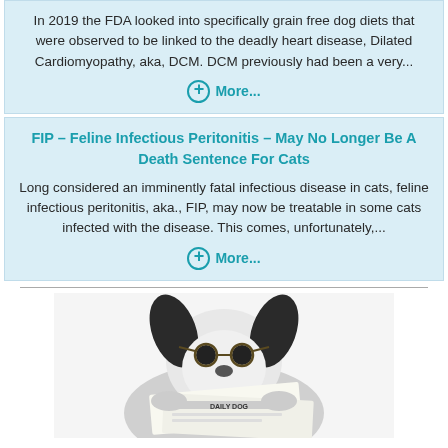In 2019 the FDA looked into specifically grain free dog diets that were observed to be linked to the deadly heart disease, Dilated Cardiomyopathy, aka, DCM. DCM previously had been a very...
More...
FIP – Feline Infectious Peritonitis – May No Longer Be A Death Sentence For Cats
Long considered an imminently fatal infectious disease in cats, feline infectious peritonitis, aka., FIP, may now be treatable in some cats infected with the disease. This comes, unfortunately,...
More...
[Figure (photo): Black and white dog wearing glasses and reading a newspaper labeled 'DAILY DOG']